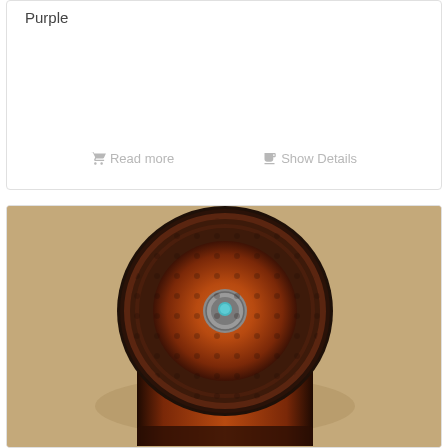Purple
Read more
Show Details
[Figure (photo): Top-down view of a decorative leather canister/box with tooled floral pattern, orange-brown gradient coloring with dark edges, and a turquoise stone concho on the lid. The cylindrical container sits on a tan surface.]